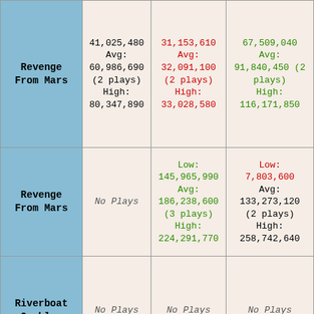| Game | Col1 | Col2 | Col3 |
| --- | --- | --- | --- |
| Revenge From Mars | 41,025,480
Avg:
60,986,690
(2 plays)
High:
80,347,890 | 31,153,610
Avg:
32,091,100
(2 plays)
High:
33,028,580 | 67,509,040
Avg:
91,840,450 (2 plays)
High:
116,171,850 |
| Revenge From Mars | No Plays | Low:
145,965,990
Avg:
186,238,600
(3 plays)
High:
224,291,770 | Low:
7,803,600
Avg:
133,273,120
(2 plays)
High:
258,742,640 |
| Riverboat Gambler | No Plays | No Plays | No Plays |
| South Park | Low:
10,796,170
Avg:
73,727,830 | Low:
17,659,290
Avg:
69,150,500 | Low:
20,153,120
Avg:
57,254,650 (5 |